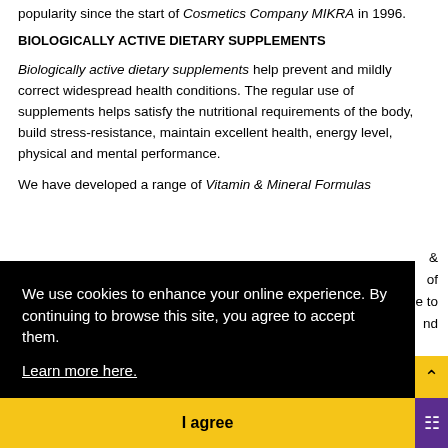popularity since the start of Cosmetics Company MIKRA in 1996.
BIOLOGICALLY ACTIVE DIETARY SUPPLEMENTS
Biologically active dietary supplements help prevent and mildly correct widespread health conditions. The regular use of supplements helps satisfy the nutritional requirements of the body, build stress-resistance, maintain excellent health, energy level, physical and mental performance.
We have developed a range of Vitamin & Mineral Formulas for...
We use cookies to enhance your online experience. By continuing to browse this site, you agree to accept them. Learn more here.
I agree